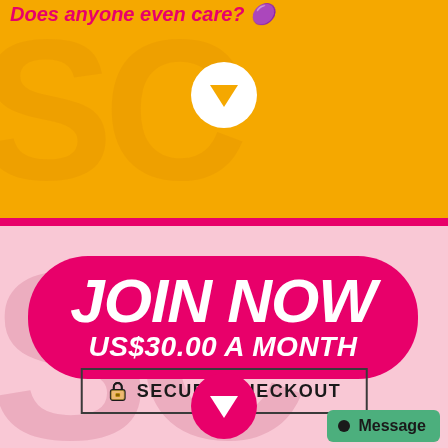[Figure (infographic): Top yellow banner section with decorative watermark letters and a white down-arrow circle icon]
Does anyone even care?
[Figure (infographic): Pink background section with JOIN NOW button, US$30.00 A MONTH text, SECURE CHECKOUT button, pink down-arrow circle, and Message button]
JOIN NOW
US$30.00 A MONTH
🔒 SECURE CHECKOUT
● Message